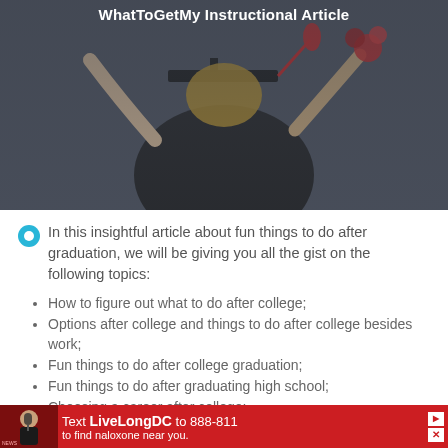[Figure (photo): Graduation photo showing a person in cap and gown with arms raised in celebration]
WhatToGetMy Instructional Article
In this insightful article about fun things to do after graduation, we will be giving you all the gist on the following topics:
How to figure out what to do after college;
Options after college and things to do after college besides work;
Fun things to do after college graduation;
Fun things to do after graduating high school;
Choosing a career after college;
[Figure (photo): Advertisement banner: Text LiveLongDC to 888-811 to find naloxone near you.]